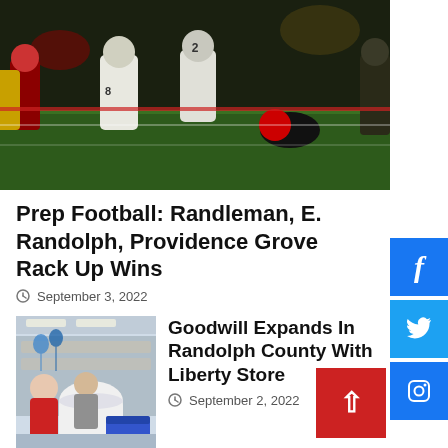[Figure (photo): Night football game action shot with players in white uniforms on a green field]
Prep Football: Randleman, E. Randolph, Providence Grove Rack Up Wins
September 3, 2022
[Figure (photo): Indoor Goodwill store scene with people sorting donated items including a large plastic container]
Goodwill Expands In Randolph County With Liberty Store
September 2, 2022